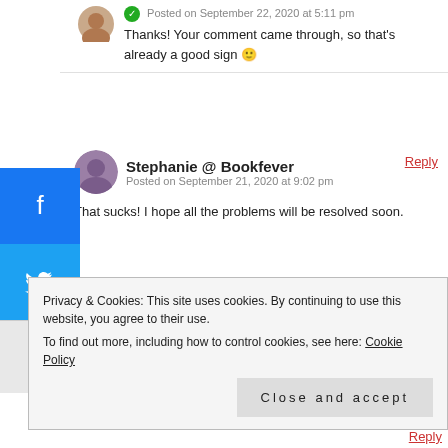Posted on September 22, 2020 at 5:11 pm
Thanks! Your comment came through, so that's already a good sign 🙂
Stephanie @ Bookfever
Posted on September 21, 2020 at 9:02 pm
That sucks! I hope all the problems will be resolved soon.
Lindsey Habets
Posted on September 22, 2020 at 5:11 pm
Thanks, me too!
Privacy & Cookies: This site uses cookies. By continuing to use this website, you agree to their use. To find out more, including how to control cookies, see here: Cookie Policy
Close and accept